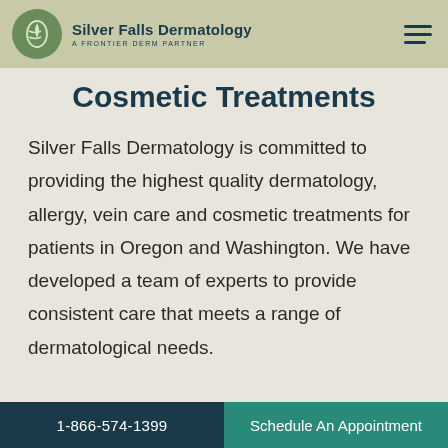Silver Falls Dermatology A FRONTIER DERM PARTNER
Cosmetic Treatments
Silver Falls Dermatology is committed to providing the highest quality dermatology, allergy, vein care and cosmetic treatments for patients in Oregon and Washington. We have developed a team of experts to provide consistent care that meets a range of dermatological needs.
1-866-574-1399 Schedule An Appointment